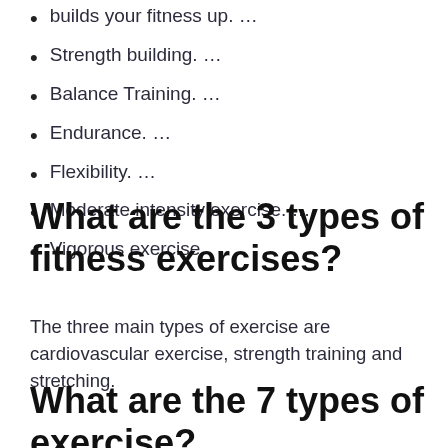builds your fitness up. …
Strength building. …
Balance Training. …
Endurance. …
Flexibility. …
Moderate intensity exercise. …
Vigorous exercise.
What are the 3 types of fitness exercises?
The three main types of exercise are cardiovascular exercise, strength training and stretching.
What are the 7 types of exercise?